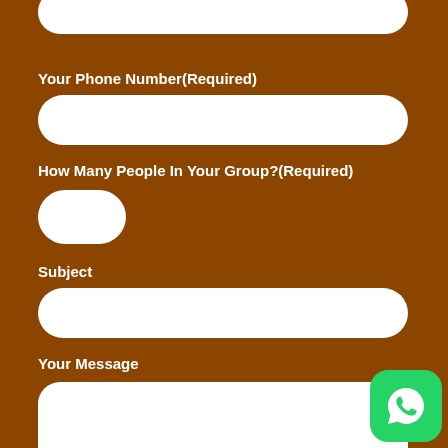Your Phone Number(Required)
[Figure (other): White rounded text input field for phone number]
How Many People In Your Group?(Required)
[Figure (other): Small white rounded input field (number spinner)]
Subject
[Figure (other): White rounded text input field for subject]
Your Message
[Figure (other): White rounded textarea for message]
[Figure (logo): WhatsApp icon button in green rounded square at bottom right]